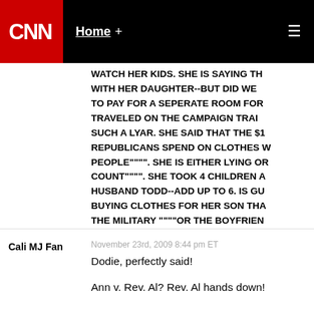CNN | Home +
WATCH HER KIDS. SHE IS SAYING TH... WITH HER DAUGHTER--BUT DID WE ... TO PAY FOR A SEPERATE ROOM FOR... TRAVELED ON THE CAMPAIGN TRAI... SUCH A LYAR. SHE SAID THAT THE $... REPUBLICANS SPEND ON CLOTHES W... PEOPLE"""". SHE IS EITHER LYING OR COUNT"""". SHE TOOK 4 CHILDREN A... HUSBAND TODD--ADD UP TO 6. IS GU... BUYING CLOTHES FOR HER SON THA... THE MILITARY """"OR THE BOYFRIEN... REPUBLICANS WILL NEVER VOTE FO... """JOURNALIST""" FOR ANY OFFICE
Cali MJ Fan
November 23rd, 2009 8:44 pm ET
Dodie, perfectly said!

Ann v. Rev. Al? Rev. Al hands down!